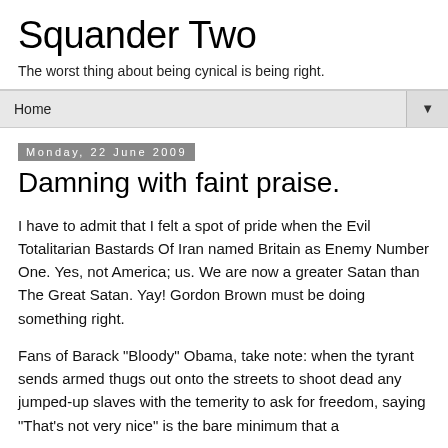Squander Two
The worst thing about being cynical is being right.
Home ▼
Monday, 22 June 2009
Damning with faint praise.
I have to admit that I felt a spot of pride when the Evil Totalitarian Bastards Of Iran named Britain as Enemy Number One. Yes, not America; us. We are now a greater Satan than The Great Satan. Yay! Gordon Brown must be doing something right.
Fans of Barack "Bloody" Obama, take note: when the tyrant sends armed thugs out onto the streets to shoot dead any jumped-up slaves with the temerity to ask for freedom, saying "That's not very nice" is the bare minimum that a